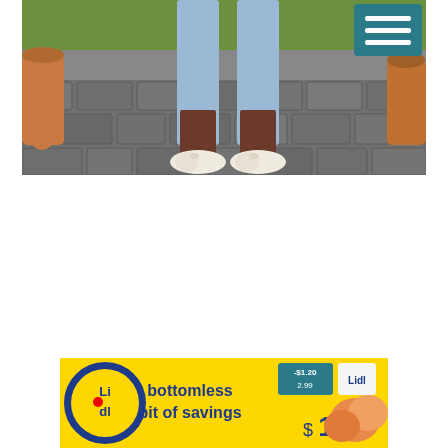[Figure (photo): Outdoor photo showing the lower body of a person standing on a cobblestone patio. The person wears light blue wide-leg trousers with dark brown/maroon cropped leggings underneath, and white ballet flat shoes with a small bow. Large terracotta plant pots and green grass are visible in the background. A teal/dark cyan hamburger menu button appears in the top-right corner.]
[Figure (screenshot): Lidl advertisement banner with yellow background. Blue and red Lidl logo on the left, text 'bottomless pit of savings', price display showing -$1.20 savings, original price 2.99, sale price $1.79, with image of peaches on the right.]